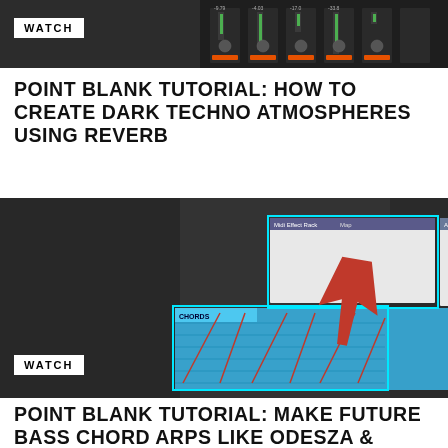[Figure (screenshot): Screenshot of a digital audio workstation mixer interface with green and orange level meters on dark background]
WATCH
POINT BLANK TUTORIAL: HOW TO CREATE DARK TECHNO ATMOSPHERES USING REVERB
[Figure (screenshot): Screenshot of Ableton Live with MIDI Effect Rack and Arpeggiator plugin windows open, showing chord/arp piano roll with blue highlighted notes and a red arrow pointing downward to the CHORDS section]
WATCH
POINT BLANK TUTORIAL: MAKE FUTURE BASS CHORD ARPS LIKE ODESZA & FLUME